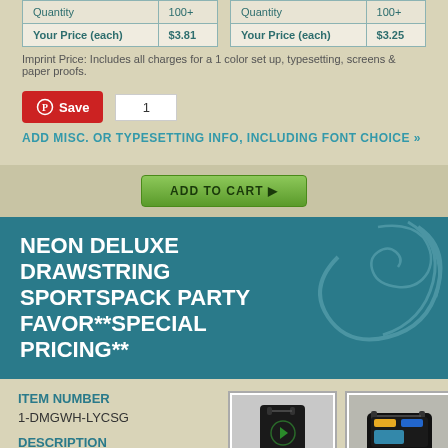| Quantity | 100+ |
| --- | --- |
| Your Price (each) | $3.81 |
| Quantity | 100+ |
| --- | --- |
| Your Price (each) | $3.25 |
Imprint Price: Includes all charges for a 1 color set up, typesetting, screens & paper proofs.
Save  1
ADD MISC. OR TYPESETTING INFO, INCLUDING FONT CHOICE »
ADD TO CART ▶
NEON DELUXE DRAWSTRING SPORTSPACK PARTY FAVOR**SPECIAL PRICING**
ITEM NUMBER
1-DMGWH-LYCSG
DESCRIPTION
Open main compartment with drawstring closure. Color pop accents throughout. Two easy access zippered pockets on front. Accent stitching and piping. 17.5" H x 14" W
[Figure (photo): Black drawstring sportspack bag displayed front view with neon colored smaller bags below]
[Figure (photo): Black drawstring sportspack bag showing open compartment with items inside]